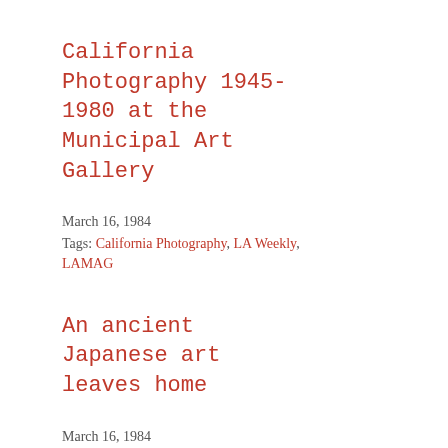California Photography 1945-1980 at the Municipal Art Gallery
March 16, 1984
Tags: California Photography, LA Weekly, LAMAG
An ancient Japanese art leaves home
March 16, 1984
Tags: Bugaku, Japan, LA Herald Examiner
Nude Brooke Shields photo